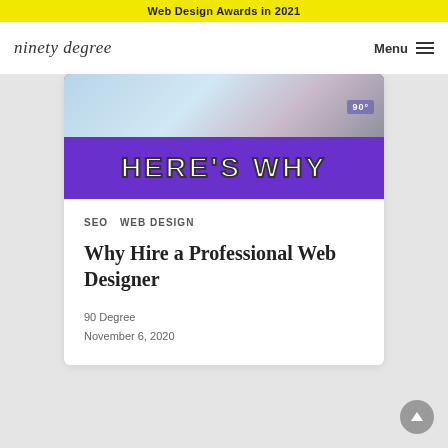Web Design Awards in 2021
ninety degree
Menu
[Figure (illustration): Card image with gradient photo background showing partial face, with purple banner below reading HERE'S WHY in large outlined white text]
SEO  Web Design
Why Hire a Professional Web Designer
90 Degree
November 6, 2020